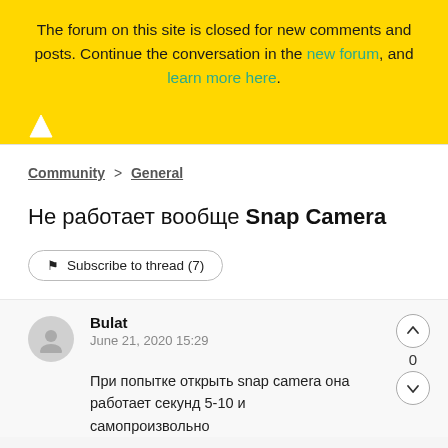The forum on this site is closed for new comments and posts. Continue the conversation in the new forum, and learn more here.
Не работает вообще Snap Camera
Community > General
Subscribe to thread (7)
Bulat
June 21, 2020 15:29
При попытке открыть snap camera она работает секунд 5-10 и самопроизвольно